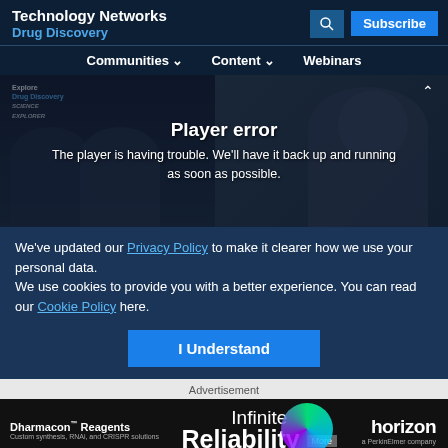Technology Networks
Drug Discovery
Communities ∨   Content ∨   Webinars
[Figure (screenshot): Video player showing people in a webinar/panel discussion with an overlay error message: 'Player error - The player is having trouble. We'll have it back up and running as soon as possible.']
We've updated our Privacy Policy to make it clearer how we use your personal data.
We use cookies to provide you with a better experience. You can read our Cookie Policy here.
I Understand
Advertisement
[Figure (screenshot): Dharmacon Reagents advertisement banner reading 'Infinite Reliability More' with Horizon logo]